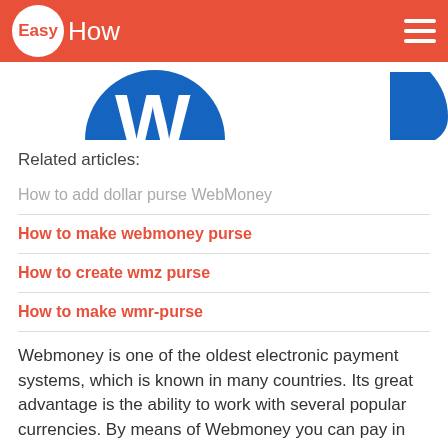EasyHow
[Figure (logo): WebMoney logo (blue W icon) partially visible at top of content area]
Related articles:
How to add dollar purse WebMoney
How to make webmoney purse
How to create wmz purse
How to make wmr-purse
Webmoney is one of the oldest electronic payment systems, which is known in many countries. Its great advantage is the ability to work with several popular currencies. By means of Webmoney you can pay in many online stores, to pay for many different